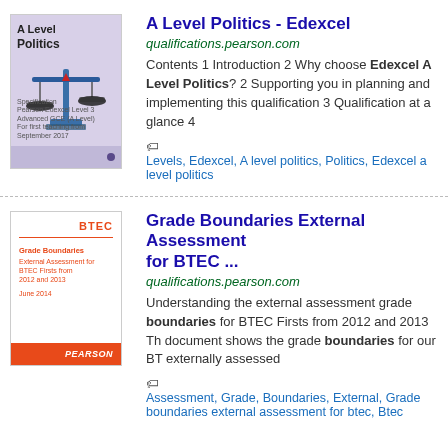[Figure (illustration): Thumbnail of A Level Politics Edexcel specification document cover, purple/blue background with scales of justice image]
A Level Politics - Edexcel
qualifications.pearson.com
Contents 1 Introduction 2 Why choose Edexcel A Level Politics? 2 Supporting you in planning and implementing this qualification 3 Qualification at a glance 4
Levels, Edexcel, A level politics, Politics, Edexcel a level politics
[Figure (illustration): Thumbnail of BTEC Grade Boundaries External Assessment for BTEC Firsts from 2012 and 2013 document cover, white background with BTEC logo and orange bar at bottom]
Grade Boundaries External Assessment for BTEC ...
qualifications.pearson.com
Understanding the external assessment grade boundaries for BTEC Firsts from 2012 and 2013 This document shows the grade boundaries for our BT externally assessed
Assessment, Grade, Boundaries, External, Grade boundaries external assessment for btec, Btec